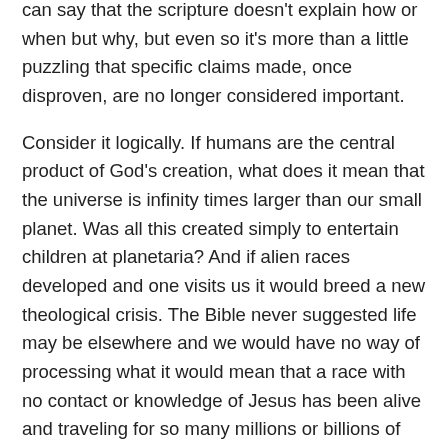can say that the scripture doesn't explain how or when but why, but even so it's more than a little puzzling that specific claims made, once disproven, are no longer considered important.
Consider it logically. If humans are the central product of God's creation, what does it mean that the universe is infinity times larger than our small planet. Was all this created simply to entertain children at planetaria? And if alien races developed and one visits us it would breed a new theological crisis. The Bible never suggested life may be elsewhere and we would have no way of processing what it would mean that a race with no contact or knowledge of Jesus has been alive and traveling for so many millions or billions of years.